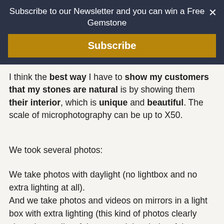Subscribe to our Newsletter and you can win a Free Gemstone
Subscribe
I think the best way I have to show my customers that my stones are natural is by showing them their interior, which is unique and beautiful. The scale of microphotography can be up to X50.
We took several photos:
We take photos with daylight (no lightbox and no extra lighting at all).
And we take photos and videos on mirrors in a light box with extra lighting (this kind of photos clearly show the quality of the cut and the clarity of the gem).